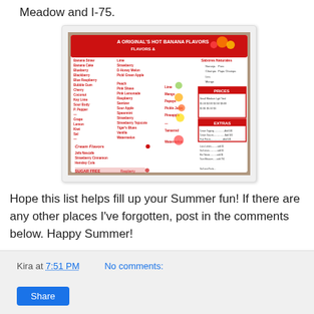Meadow and I-75.
[Figure (photo): Photo of a snow cone / shaved ice menu board showing flavors, prices, and extras in red and white.]
Hope this list helps fill up your Summer fun! If there are any other places I've forgotten, post in the comments below. Happy Summer!
Kira at 7:51 PM   No comments:   Share